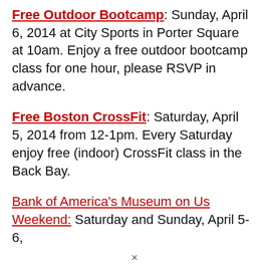Free Outdoor Bootcamp: Sunday, April 6, 2014 at City Sports in Porter Square at 10am. Enjoy a free outdoor bootcamp class for one hour, please RSVP in advance.
Free Boston CrossFit: Saturday, April 5, 2014 from 12-1pm. Every Saturday enjoy free (indoor) CrossFit class in the Back Bay.
Bank of America's Museum on Us Weekend: Saturday and Sunday, April 5-6,
×